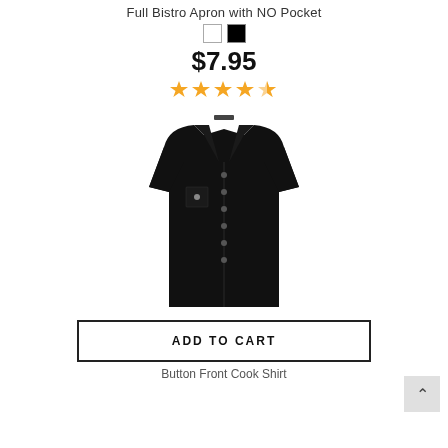Full Bistro Apron with NO Pocket
[Figure (other): Two color swatches: white and black]
$7.95
[Figure (other): 4.5 star rating shown as gold stars]
[Figure (photo): Black button-front cook shirt, short sleeve, displayed on white background]
ADD TO CART
Button Front Cook Shirt